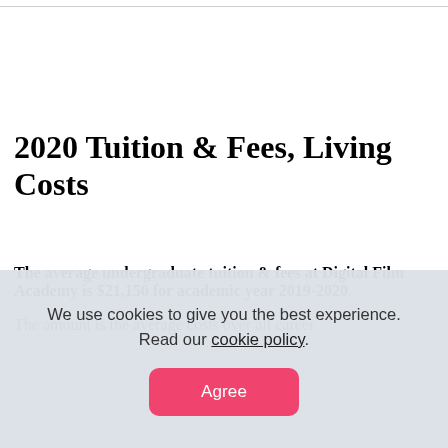2020 Tuition & Fees, Living Costs
The average undergraduate tuition & fees at Digital Film Academy is $21,150 for academic year 2019-2020. The amount is the average costs over all career
We use cookies to give you the best experience. Read our cookie policy.